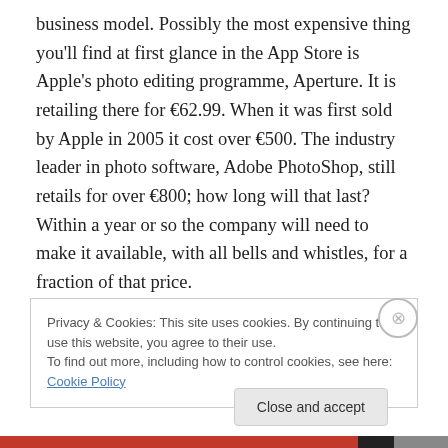business model. Possibly the most expensive thing you'll find at first glance in the App Store is Apple's photo editing programme, Aperture. It is retailing there for €62.99. When it was first sold by Apple in 2005 it cost over €500. The industry leader in photo software, Adobe PhotoShop, still retails for over €800; how long will that last? Within a year or so the company will need to make it available, with all bells and whistles, for a fraction of that price.

Will this affect software quality, as developers receive much less income from sales? Or will a mass market and
Privacy & Cookies: This site uses cookies. By continuing to use this website, you agree to their use.
To find out more, including how to control cookies, see here: Cookie Policy
Close and accept